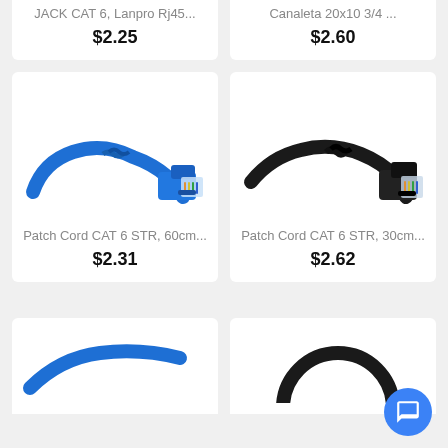JACK CAT 6, Lanpro Rj45...
$2.25
Canaleta 20x10 3/4 ...
$2.60
[Figure (photo): Blue CAT 6 patch cord cable with RJ45 connector]
Patch Cord CAT 6 STR, 60cm...
$2.31
[Figure (photo): Black CAT 6 patch cord cable with RJ45 connector]
Patch Cord CAT 6 STR, 30cm...
$2.62
[Figure (photo): Blue cable (partial, bottom of page)]
[Figure (photo): Black cable loop (partial, bottom of page)]